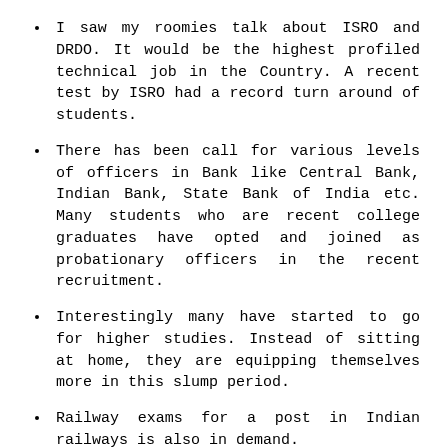I saw my roomies talk about ISRO and DRDO. It would be the highest profiled technical job in the Country. A recent test by ISRO had a record turn around of students.
There has been call for various levels of officers in Bank like Central Bank, Indian Bank, State Bank of India etc. Many students who are recent college graduates have opted and joined as probationary officers in the recent recruitment.
Interestingly many have started to go for higher studies. Instead of sitting at home, they are equipping themselves more in this slump period.
Railway exams for a post in Indian railways is also in demand.
I even find my friends wating to try their hand in cinematography!
All said and done, we are hoping people do not return back to IT under the impression that they can make more money